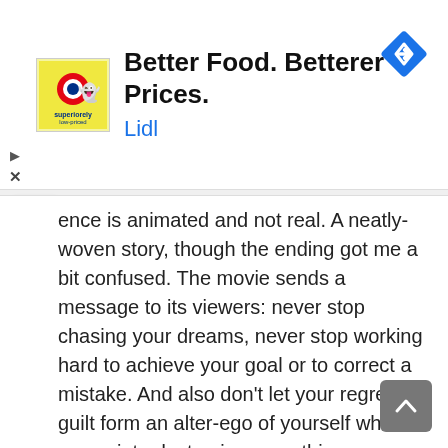[Figure (screenshot): Lidl advertisement banner with logo showing Lidl branding and a ghost/emoji character, headline 'Better Food. Betterer Prices.' and brand name 'Lidl' in blue, plus a blue navigation diamond icon on the right]
ence is animated and not real. A neatly-woven story, though the ending got me a bit confused. The movie sends a message to its viewers: never stop chasing your dreams, never stop working hard to achieve your goal or to correct a mistake. And also don't let your regret and guilt form an alter-ego of yourself which grows into destroying everything you currently love and wiping out entire memories. Buzz Lightyear to the rescue!